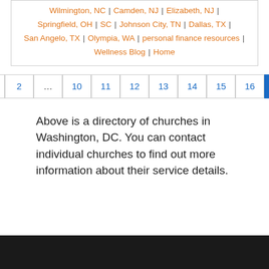Wilmington, NC | Camden, NJ | Elizabeth, NJ | Springfield, OH | SC | Johnson City, TN | Dallas, TX | San Angelo, TX | Olympia, WA | personal finance resources | Wellness Blog | Home
Pagination: « 1 2 … 10 11 12 13 14 15 16 17 »
Above is a directory of churches in Washington, DC. You can contact individual churches to find out more information about their service details.